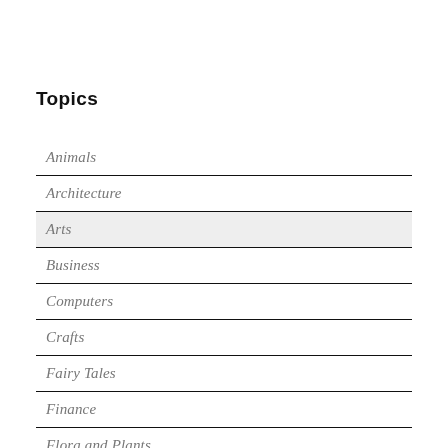Topics
Animals
Architecture
Arts
Business
Computers
Crafts
Fairy Tales
Finance
Flora and Plants